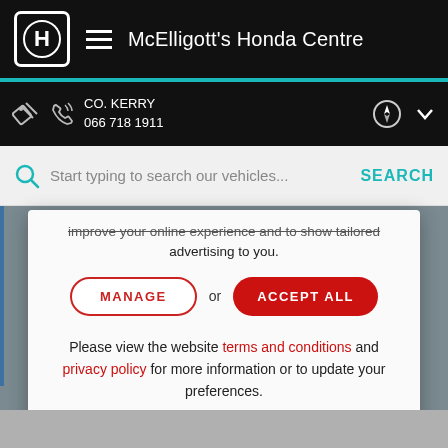McElligott's Honda Centre
CO. KERRY
066 718 1911
Start typing to search our vehicles...
improve your online experience and to show tailored advertising to you.
MANAGE or ACCEPT ALL
Please view the website terms and conditions and privacy policy for more information or to update your preferences.